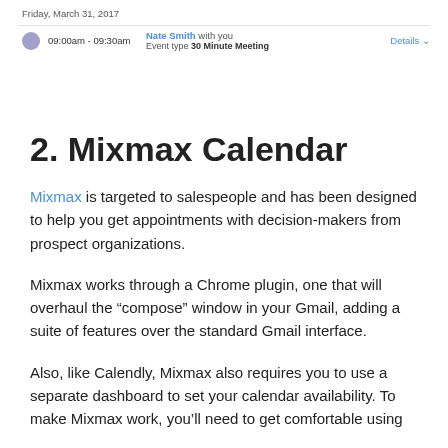[Figure (screenshot): Google Calendar event entry showing Friday, March 31, 2017 with a meeting from 09:00am - 09:30am with Nate Smith, Event type 30 Minute Meeting, and a Details link.]
2. Mixmax Calendar
Mixmax is targeted to salespeople and has been designed to help you get appointments with decision-makers from prospect organizations.
Mixmax works through a Chrome plugin, one that will overhaul the “compose” window in your Gmail, adding a suite of features over the standard Gmail interface.
Also, like Calendly, Mixmax also requires you to use a separate dashboard to set your calendar availability. To make Mixmax work, you’ll need to get comfortable using